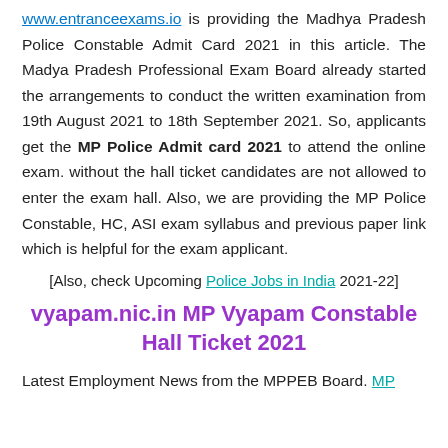www.entranceexams.io is providing the Madhya Pradesh Police Constable Admit Card 2021 in this article. The Madya Pradesh Professional Exam Board already started the arrangements to conduct the written examination from 19th August 2021 to 18th September 2021. So, applicants get the MP Police Admit card 2021 to attend the online exam. without the hall ticket candidates are not allowed to enter the exam hall. Also, we are providing the MP Police Constable, HC, ASI exam syllabus and previous paper link which is helpful for the exam applicant.
[Also, check Upcoming Police Jobs in India 2021-22]
vyapam.nic.in MP Vyapam Constable Hall Ticket 2021
Latest Employment News from the MPPEB Board. MP